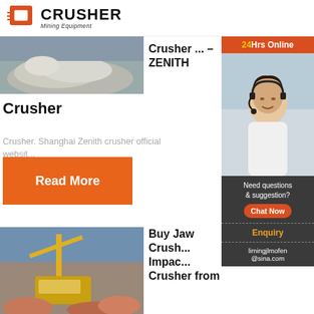CRUSHER Mining Equipment
[Figure (photo): Aerial view of crushed stone/gravel pile at mining site]
Crusher ... – ZENITH
Crusher
Crusher. Shanghai Zenith crusher official websit...
Read More
[Figure (photo): Mining crusher machinery at work, yellow equipment]
Buy Jaw Crusher, Impact Crusher from
[Figure (photo): Customer service representative with headset - 24Hrs Online sidebar]
Need questions & suggestion?
Chat Now
Enquiry
limingjlmofen@sina.com